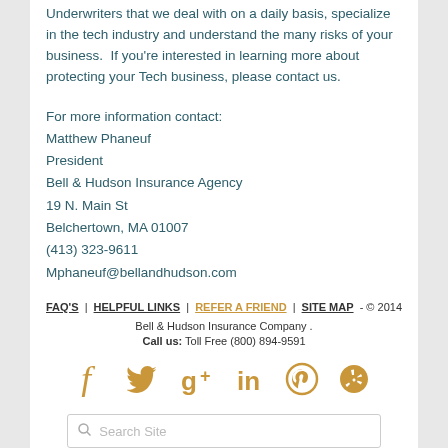Underwriters that we deal with on a daily basis, specialize in the tech industry and understand the many risks of your business.  If you're interested in learning more about protecting your Tech business, please contact us.
For more information contact:
Matthew Phaneuf
President
Bell & Hudson Insurance Agency
19 N. Main St
Belchertown, MA 01007
(413) 323-9611
Mphaneuf@bellandhudson.com
FAQ'S | HELPFUL LINKS | REFER A FRIEND | SITE MAP - © 2014 Bell & Hudson Insurance Company . Call us: Toll Free (800) 894-9591
[Figure (infographic): Social media icons: Facebook, Twitter, Google+, LinkedIn, Pinterest, Yelp — all in gold/amber color]
[Figure (other): Search Site input box with magnifying glass icon]